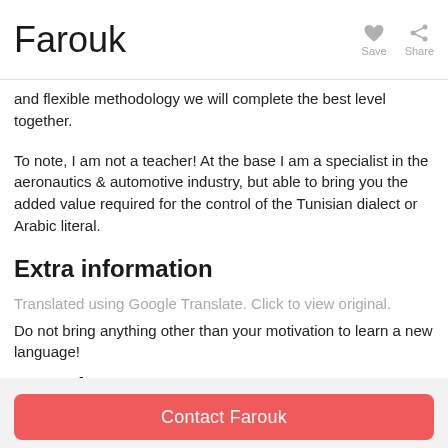Farouk
and flexible methodology we will complete the best level together.
To note, I am not a teacher! At the base I am a specialist in the aeronautics & automotive industry, but able to bring you the added value required for the control of the Tunisian dialect or Arabic literal.
Extra information
Translated using Google Translate. Click to view original.
Do not bring anything other than your motivation to learn a new language!
Location
Contact Farouk